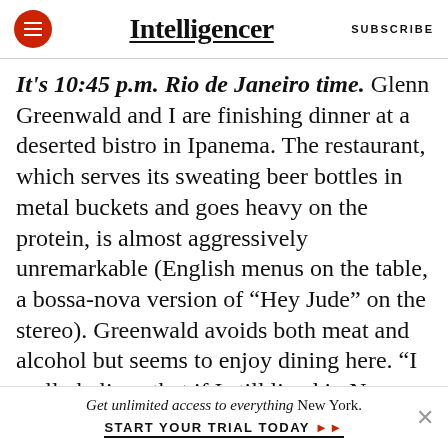Intelligencer  SUBSCRIBE
It's 10:45 p.m. Rio de Janeiro time. Glenn Greenwald and I are finishing dinner at a deserted bistro in Ipanema. The restaurant, which serves its sweating beer bottles in metal buckets and goes heavy on the protein, is almost aggressively unremarkable (English menus on the table, a bossa-nova version of “Hey Jude” on the stereo). Greenwald avoids both meat and alcohol but seems to enjoy dining here. “I really believe that if I still lived in New York, the vast majority of my friends would be New York and Washington media people
Get unlimited access to everything New York. START YOUR TRIAL TODAY »»